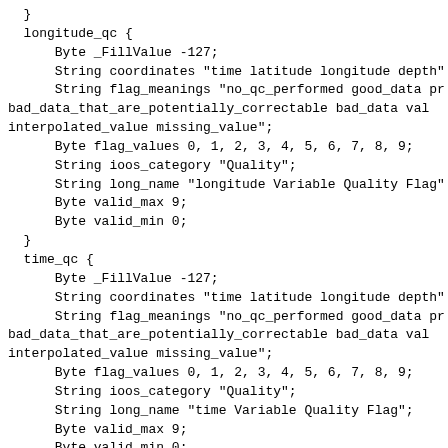}
  longitude_qc {
      Byte _FillValue -127;
      String coordinates "time latitude longitude depth"
      String flag_meanings "no_qc_performed good_data pr
bad_data_that_are_potentially_correctable bad_data val
interpolated_value missing_value";
      Byte flag_values 0, 1, 2, 3, 4, 5, 6, 7, 8, 9;
      String ioos_category "Quality";
      String long_name "longitude Variable Quality Flag"
      Byte valid_max 9;
      Byte valid_min 0;
  }
  time_qc {
      Byte _FillValue -127;
      String coordinates "time latitude longitude depth"
      String flag_meanings "no_qc_performed good_data pr
bad_data_that_are_potentially_correctable bad_data val
interpolated_value missing_value";
      Byte flag_values 0, 1, 2, 3, 4, 5, 6, 7, 8, 9;
      String ioos_category "Quality";
      String long_name "time Variable Quality Flag";
      Byte valid_max 9;
      Byte valid_min 0;
  }